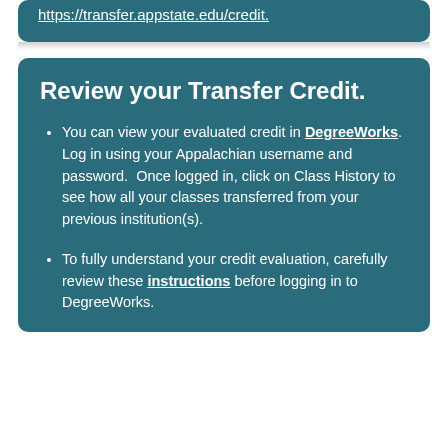https://transfer.appstate.edu/credit.
Review your Transfer Credit.
You can view your evaluated credit in DegreeWorks. Log in using your Appalachian username and password. Once logged in, click on Class History to see how all your classes transferred from your previous institution(s).
To fully understand your credit evaluation, carefully review these instructions before logging in to DegreeWorks.